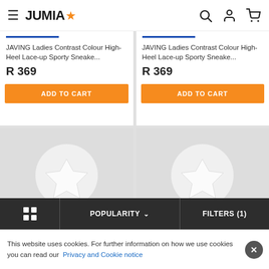JUMIA
JAVING Ladies Contrast Colour High-Heel Lace-up Sporty Sneake... R 369
JAVING Ladies Contrast Colour High-Heel Lace-up Sporty Sneake... R 369
[Figure (screenshot): Jumia product placeholder icons for loading product images]
POPULARITY
FILTERS (1)
This website uses cookies. For further information on how we use cookies you can read our Privacy and Cookie notice